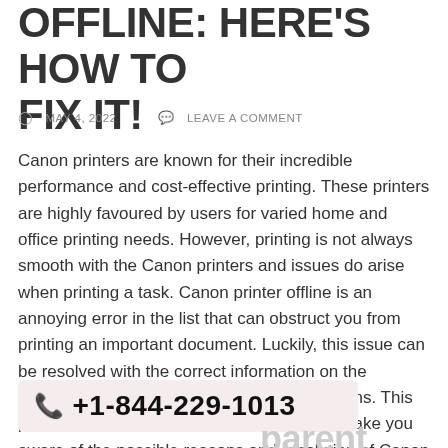OFFLINE: HERE'S HOW TO FIX IT!
MAY 4, 2022   LEAVE A COMMENT
Canon printers are known for their incredible performance and cost-effective printing. These printers are highly favoured by users for varied home and office printing needs. However, printing is not always smooth with the Canon printers and issues do arise when printing a task. Canon printer offline is an annoying error in the list that can obstruct you from printing an important document. Luckily, this issue can be resolved with the correct information on the possible reasons and troubleshooting solutions. This post serves the same purpose, which is to make you aware of the possible reasons and resolution of Canon Printer offline error. Let's proceed further!
+1-844-229-1013
parent